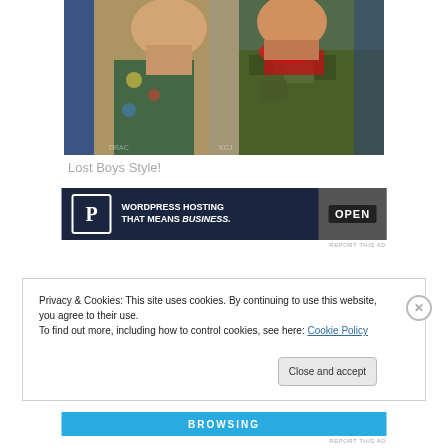[Figure (photo): Close-up photo of two young men from the movie 'Lost Boys' — one wearing a floral shirt and light jacket, the other wearing camouflage with a red bandana]
Lost Boys Style!
[Figure (other): WordPress Hosting advertisement banner: 'WORDPRESS HOSTING THAT MEANS BUSINESS.' with a P logo and an OPEN sign image]
REPORT THIS AD
Privacy & Cookies: This site uses cookies. By continuing to use this website, you agree to their use.
To find out more, including how to control cookies, see here: Cookie Policy
Close and accept
[Figure (other): Bottom advertisement banner in blue with text 'BROWSING']
REPORT THIS AD